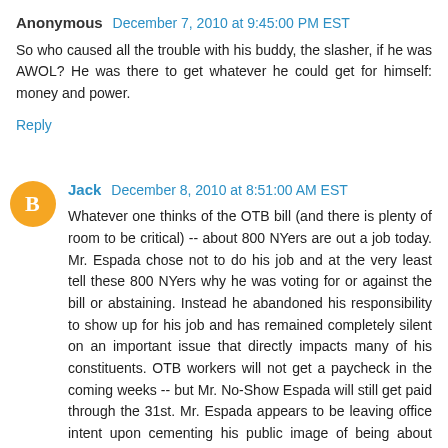Anonymous December 7, 2010 at 9:45:00 PM EST
So who caused all the trouble with his buddy, the slasher, if he was AWOL? He was there to get whatever he could get for himself: money and power.
Reply
Jack December 8, 2010 at 8:51:00 AM EST
Whatever one thinks of the OTB bill (and there is plenty of room to be critical) -- about 800 NYers are out a job today. Mr. Espada chose not to do his job and at the very least tell these 800 NYers why he was voting for or against the bill or abstaining. Instead he abandoned his responsibility to show up for his job and has remained completely silent on an important issue that directly impacts many of his constituents. OTB workers will not get a paycheck in the coming weeks -- but Mr. No-Show Espada will still get paid through the 31st. Mr. Espada appears to be leaving office intent upon cementing his public image of being about nothing more than Pedro Espada. I hope that staff in the offices of the Bronx DA, NYS AG, and US Attorney...